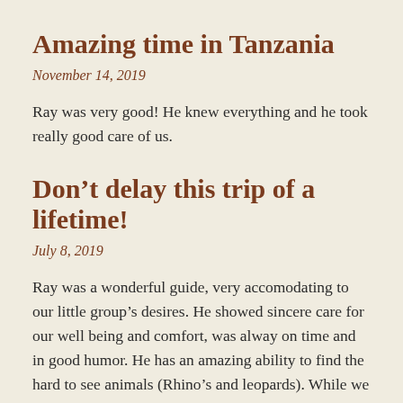Amazing time in Tanzania
November 14, 2019
Ray was very good! He knew everything and he took really good care of us.
Don’t delay this trip of a lifetime!
July 8, 2019
Ray was a wonderful guide, very accomodating to our little group’s desires. He showed sincere care for our well being and comfort, was alway on time and in good humor. He has an amazing ability to find the hard to see animals (Rhino’s and leopards). While we peppered Ray with questions on all variety of animals and birds to the Masai people customs, he exhibited a broad knowledge of the area, its